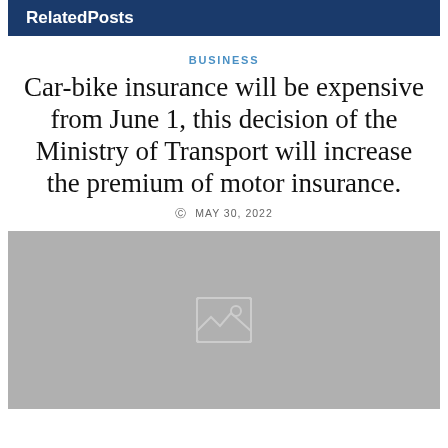RelatedPosts
BUSINESS
Car-bike insurance will be expensive from June 1, this decision of the Ministry of Transport will increase the premium of motor insurance.
MAY 30, 2022
[Figure (photo): Placeholder image block with image icon on grey background]